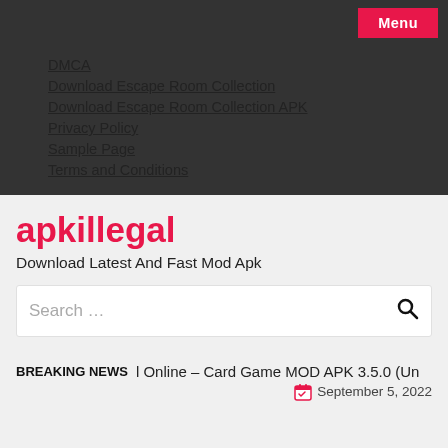Menu
DMCA
Download Escape Room Collection
Download Escape Room Collection APK
Privacy Policy
Sample Page
Terms and Conditions
apkillegal
Download Latest And Fast Mod Apk
Search …
BREAKING NEWS   l Online – Card Game MOD APK 3.5.0 (Un   September 5, 2022